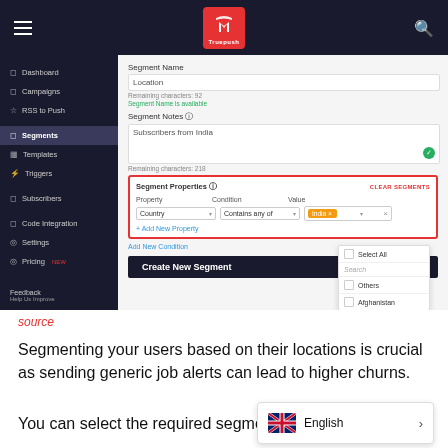[Figure (screenshot): Screenshot of Truepush email marketing platform showing segment creation form with Segment Name 'Location', Segment Notes 'Subscribers from India', and Segment Properties with Country 'Contains any of' 'India' selected, with a dropdown showing Select All, Search, Others, Afghanistan options. Left sidebar shows navigation: Dashboard, Campaigns, RSS to Push, Segments (active), Templates, Triggers, Subscribers, Code Integration, Settings, Pricing.]
source
Segmenting your users based on their locations is crucial as sending generic job alerts can lead to higher churns.
You can select the required segmen